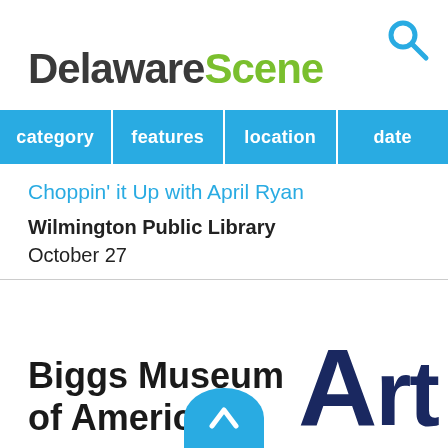[Figure (logo): Search icon (magnifying glass) in cyan/blue color, top right corner]
DelawareScene
| category | features | location | date |
| --- | --- | --- | --- |
Choppin' it Up with April Ryan
Wilmington Public Library
October 27
[Figure (logo): Biggs Museum of American Art logo — bold black text 'Biggs Museum of American' on left, large bold dark navy 'Art' text with oversized letter 'A' on right, cyan circular scroll-up button at bottom center]